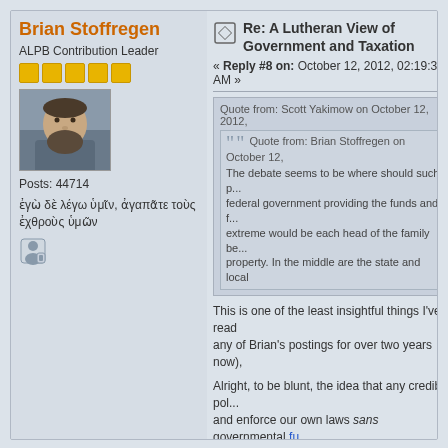Brian Stoffregen
ALPB Contribution Leader
Posts: 44714
ἐγὼ δὲ λέγω ὑμῖν, ἀγαπᾶτε τοὺς ἐχθροὺς ὑμῶν
Re: A Lutheran View of Government and Taxation
« Reply #8 on: October 12, 2012, 02:19:33 AM »
Quote from: Scott Yakimow on October 12, 2012,
Quote from: Brian Stoffregen on October 12,
The debate seems to be where should such p... federal government providing the funds and f... extreme would be each head of the family be... property. In the middle are the state and local
This is one of the least insightful things I've read any of Brian's postings for over two years now),
Alright, to be blunt, the idea that any credible po... and enforce our own laws sans governmental fu... "each head of the family being armed and equip... stupid.  No one claims this.
Did you miss "at the other extreme"? It's a... with such extreme views. Seldom are the... used extreme examples, which on the be... positions or actions of "sick" people. I us